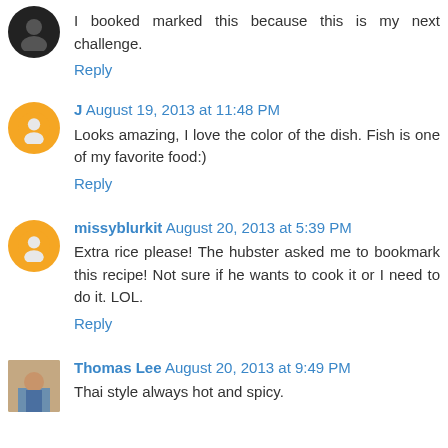I booked marked this because this is my next challenge.
Reply
J August 19, 2013 at 11:48 PM
Looks amazing, I love the color of the dish. Fish is one of my favorite food:)
Reply
missyblurkit August 20, 2013 at 5:39 PM
Extra rice please! The hubster asked me to bookmark this recipe! Not sure if he wants to cook it or I need to do it. LOL.
Reply
Thomas Lee August 20, 2013 at 9:49 PM
Thai style always hot and spicy.